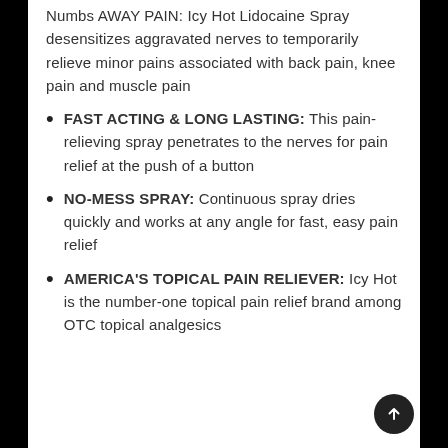Numbs AWAY PAIN: Icy Hot Lidocaine Spray desensitizes aggravated nerves to temporarily relieve minor pains associated with back pain, knee pain and muscle pain
FAST ACTING & LONG LASTING: This pain-relieving spray penetrates to the nerves for pain relief at the push of a button
NO-MESS SPRAY: Continuous spray dries quickly and works at any angle for fast, easy pain relief
AMERICA'S TOPICAL PAIN RELIEVER: Icy Hot is the number-one topical pain relief brand among OTC topical analgesics